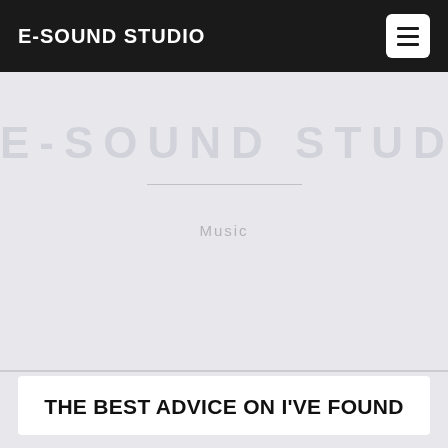E-SOUND STUDIO
E-SOUND STUDIO
Music
THE BEST ADVICE ON I'VE FOUND